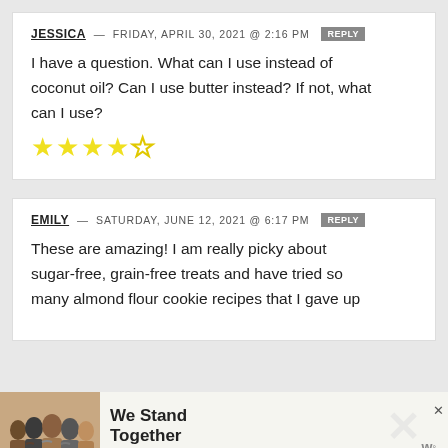JESSICA — FRIDAY, APRIL 30, 2021 @ 2:16 PM REPLY
I have a question. What can I use instead of coconut oil? Can I use butter instead? If not, what can I use?
4 out of 5 stars
EMILY — SATURDAY, JUNE 12, 2021 @ 6:17 PM REPLY
These are amazing! I am really picky about sugar-free, grain-free treats and have tried so many almond flour cookie recipes that I gave up
[Figure (infographic): Advertisement banner showing people with arms around each other and text 'We Stand Together']